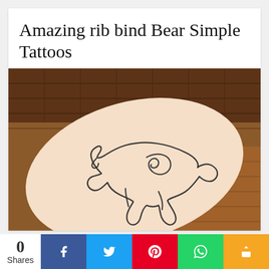Amazing rib bind Bear Simple Tattoos
[Figure (photo): A person's forearm with a minimalist single-line tattoo of a bear in a crouching/walking pose, drawn in continuous line art style. The background shows a wooden floor and brick wall.]
0 Shares  [Facebook] [Twitter] [Pinterest] [WhatsApp] [Share]